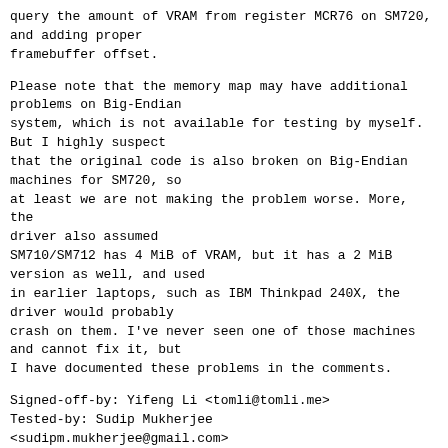query the amount of VRAM from register MCR76 on SM720,
and adding proper
framebuffer offset.
Please note that the memory map may have additional
problems on Big-Endian
system, which is not available for testing by myself.
But I highly suspect
that the original code is also broken on Big-Endian
machines for SM720, so
at least we are not making the problem worse. More, the
driver also assumed
SM710/SM712 has 4 MiB of VRAM, but it has a 2 MiB
version as well, and used
in earlier laptops, such as IBM Thinkpad 240X, the
driver would probably
crash on them. I've never seen one of those machines
and cannot fix it, but
I have documented these problems in the comments.
Signed-off-by: Yifeng Li <tomli@tomli.me>
Tested-by: Sudip Mukherjee <sudipm.mukherjee@gmail.com>
Cc: Teddy Wang <teddy.wang@siliconmotion.com>
Cc: <stable@vger.kernel.org>  # v4.4+
Signed-off-by: Bartlomiej Zolnierkiewicz
<b.zolnierkie@samsung.com>
Signed-off-by: Greg Kroah-Hartman
<gregkh@linuxfoundation.org>
...